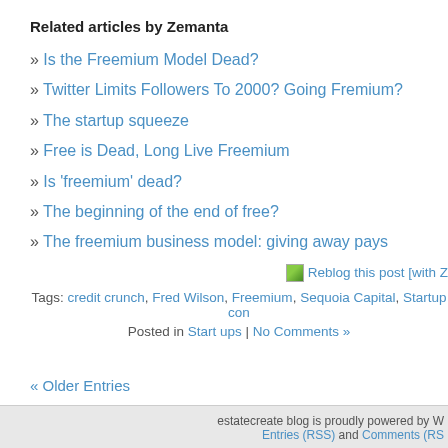Related articles by Zemanta
» Is the Freemium Model Dead?
» Twitter Limits Followers To 2000? Going Fremium?
» The startup squeeze
» Free is Dead, Long Live Freemium
» Is 'freemium' dead?
» The beginning of the end of free?
» The freemium business model: giving away pays
Reblog this post [with Z
Tags: credit crunch, Fred Wilson, Freemium, Sequoia Capital, Startup con
Posted in Start ups | No Comments »
« Older Entries
estatecreate blog is proudly powered by W  Entries (RSS) and Comments (RS